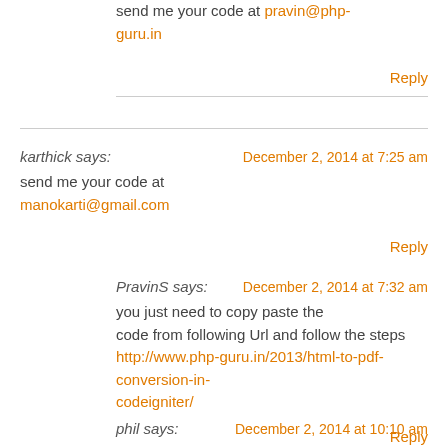send me your code at pravin@php-guru.in
Reply
karthick says: December 2, 2014 at 7:25 am
send me your code at manokarti@gmail.com
Reply
PravinS says: December 2, 2014 at 7:32 am
you just need to copy paste the code from following Url and follow the steps http://www.php-guru.in/2013/html-to-pdf-conversion-in-codeigniter/
Reply
phil says: December 2, 2014 at 10:10 am